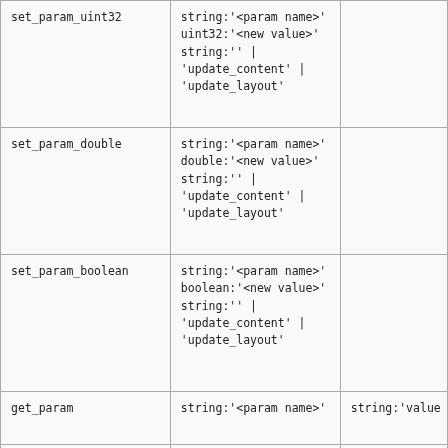| (function name) | (parameters) | (return) |
| --- | --- | --- |
| set_param_uint32 | string:'<param name>'
uint32:'<new value>'
string:'' |
'update_content' |
'update_layout' |  |
| set_param_double | string:'<param name>'
double:'<new value>'
string:'' |
'update_content' |
'update_layout' |  |
| set_param_boolean | string:'<param name>'
boolean:'<new value>'
string:'' |
'update_content' |
'update_layout' |  |
| get_param | string:'<param name>' | string:'value |
| is_on_sight |  | string:'value |
| get_current_results_text |  | string:'value |